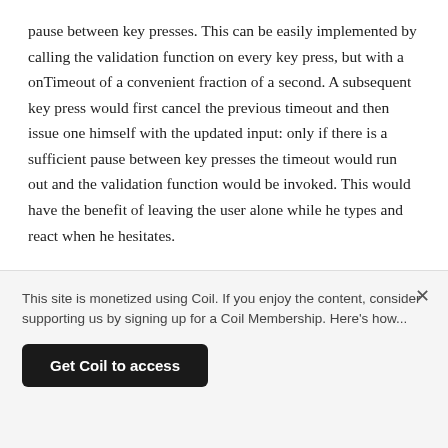pause between key presses. This can be easily implemented by calling the validation function on every key press, but with a onTimeout of a convenient fraction of a second. A subsequent key press would first cancel the previous timeout and then issue one himself with the updated input: only if there is a sufficient pause between key presses the timeout would run out and the validation function would be invoked. This would have the benefit of leaving the user alone while he types and react when he hesitates.
While in the past years I have relied heavily on this technique for 'autocomplete' search fields to avoid excessive screen flickering, I have never, until now, thought of using it for validation. However, because you are no longer responding to the user while he is typing
This site is monetized using Coil. If you enjoy the content, consider supporting us by signing up for a Coil Membership. Here's how...
Get Coil to access